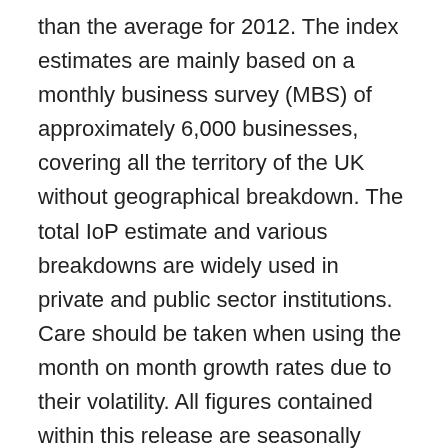than the average for 2012. The index estimates are mainly based on a monthly business survey (MBS) of approximately 6,000 businesses, covering all the territory of the UK without geographical breakdown. The total IoP estimate and various breakdowns are widely used in private and public sector institutions. Care should be taken when using the month on month growth rates due to their volatility. All figures contained within this release are seasonally adjusted estimates, unless otherwise stated.
This release presents:
the most recent IoP figures
the economic context to the IoP